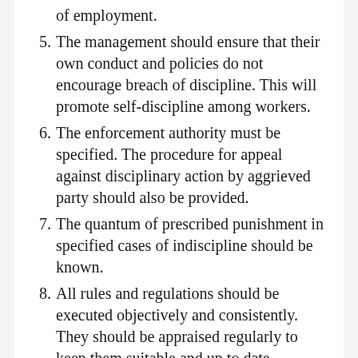of employment.
5. The management should ensure that their own conduct and policies do not encourage breach of discipline. This will promote self-discipline among workers.
6. The enforcement authority must be specified. The procedure for appeal against disciplinary action by aggrieved party should also be provided.
7. The quantum of prescribed punishment in specified cases of indiscipline should be known.
8. All rules and regulations should be executed objectively and consistently. They should be appraised regularly to keep them suitable and up to date.
9. The discipline policy should seek to prevent the breach of discipline rather than to administer penalties. Penalties should be